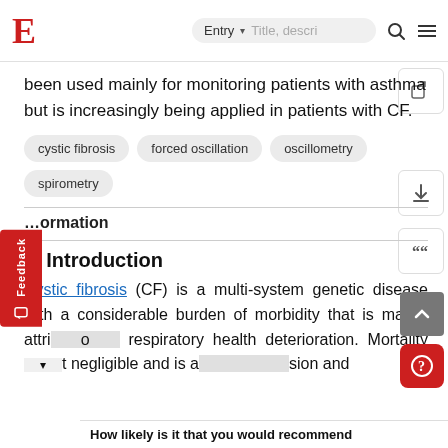E  Entry  [search]
been used mainly for monitoring patients with asthma but is increasingly being applied in patients with CF.
cystic fibrosis
forced oscillation
oscillometry
spirometry
...ormation
1. Introduction
Cystic fibrosis (CF) is a multi-system genetic disease with a considerable burden of morbidity that is mainly attri...o respiratory health deterioration. Mortality ...t negligible and is a ...sion and
How likely is it that you would recommend